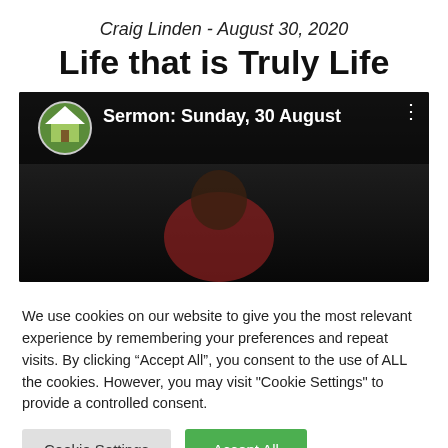Craig Linden - August 30, 2020
Life that is Truly Life
[Figure (screenshot): Video thumbnail showing 'Sermon: Sunday, 30 August' with a church icon and dark background with a person visible]
We use cookies on our website to give you the most relevant experience by remembering your preferences and repeat visits. By clicking “Accept All”, you consent to the use of ALL the cookies. However, you may visit "Cookie Settings" to provide a controlled consent.